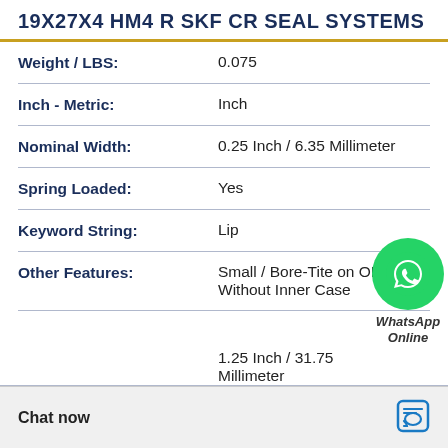19X27X4 HM4 R SKF CR SEAL SYSTEMS
| Property | Value |
| --- | --- |
| Weight / LBS: | 0.075 |
| Inch - Metric: | Inch |
| Nominal Width: | 0.25 Inch / 6.35 Millimeter |
| Spring Loaded: | Yes |
| Keyword String: | Lip |
| Other Features: | Small / Bore-Tite on OD / Without Inner Case |
|  | 1.25 Inch / 31.75 Millimeter |
[Figure (logo): WhatsApp Online green circle logo with phone icon and text 'WhatsApp Online']
Chat now